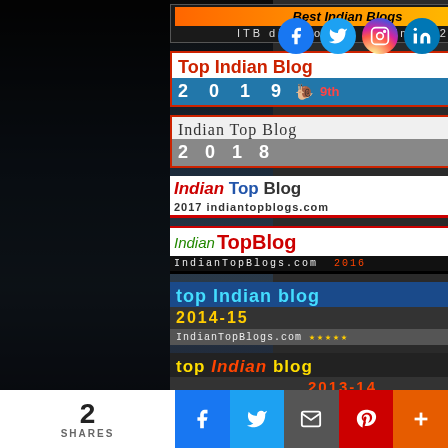[Figure (logo): Best Indian Blogs badge - ITB directory @10 in 2020]
[Figure (logo): Social media icons: Facebook, Twitter, Instagram, LinkedIn]
[Figure (logo): Top Indian Blog 2019 - 9th place badge]
[Figure (logo): Indian Top Blog 2018 badge]
[Figure (logo): Indian Top Blog 2017 indiantopblogs.com badge]
[Figure (logo): Indian Top Blog IndianTopBlogs.com 2016 badge]
[Figure (logo): top Indian blog 2014-15 IndianTopBlogs.com five stars badge]
[Figure (logo): top Indian blog 2013-14 indian top blogs five stars badge]
[Figure (logo): Top Indian Blog (partial, bottom cut off)]
2 SHARES
[Figure (infographic): Share bar with Facebook, Twitter, Email, Pinterest, More buttons]